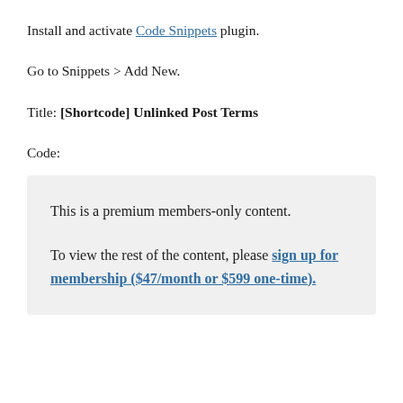Install and activate Code Snippets plugin.
Go to Snippets > Add New.
Title: [Shortcode] Unlinked Post Terms
Code:
This is a premium members-only content.

To view the rest of the content, please sign up for membership ($47/month or $599 one-time).